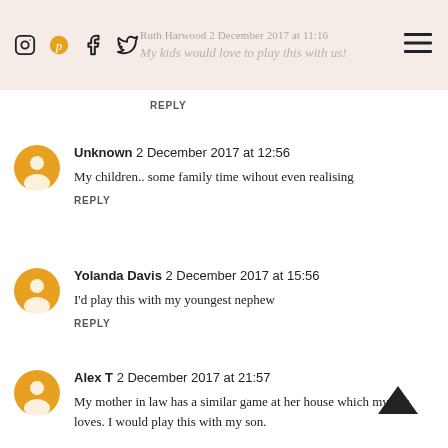Ruth Harwood 2 December 2017 at 11:16 My kids would love to play this with us!
REPLY
Unknown 2 December 2017 at 12:56
My children.. some family time wihout even realising
REPLY
Yolanda Davis 2 December 2017 at 15:56
I'd play this with my youngest nephew
REPLY
Alex T 2 December 2017 at 21:57
My mother in law has a similar game at her house which my son loves. I would play this with my son.